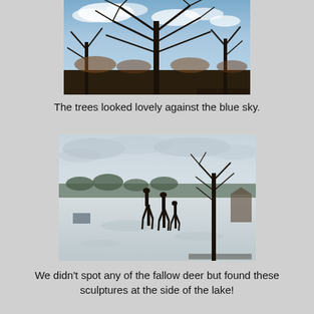[Figure (photo): Winter trees with bare branches against a blue sky with light clouds]
The trees looked lovely against the blue sky.
[Figure (photo): A snowy open field with deer sculptures silhouetted against a cloudy sky, trees in background]
We didn't spot any of the fallow deer but found these sculptures at the side of the lake!